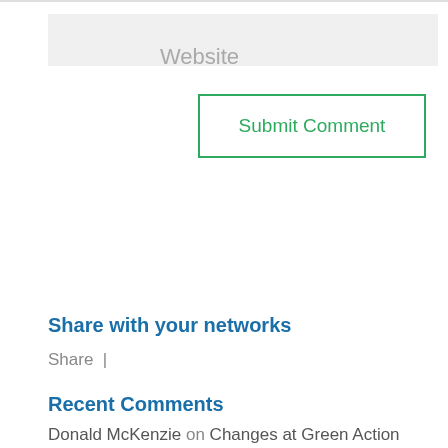Website
Submit Comment
Share with your networks
Share |
Recent Comments
Donald McKenzie on Changes at Green Action